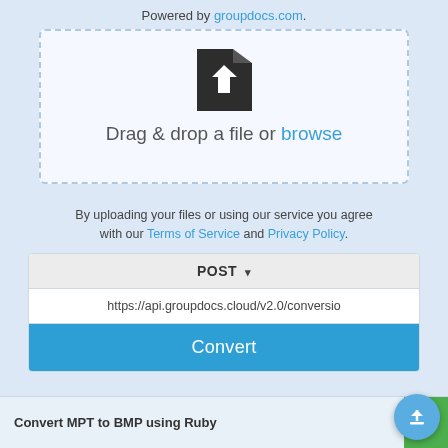Powered by groupdocs.com.
[Figure (illustration): Dashed-border drop zone with a file upload icon and text 'Drag & drop a file or browse']
By uploading your files or using our service you agree with our Terms of Service and Privacy Policy.
POST ▾
https://api.groupdocs.cloud/v2.0/conversio
Convert
Convert MPT to BMP using Ruby